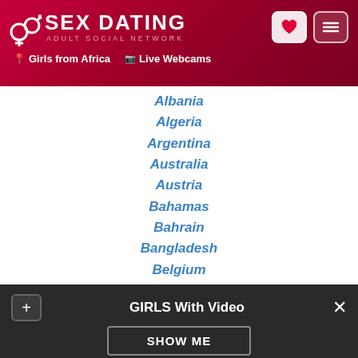[Figure (screenshot): Sex Dating adult social network website header with logo, gender icons, heart and menu buttons, and navigation links for Girls from Africa and Live Webcams]
Albania
Algeria
Argentina
Australia
Austria
Bahamas
Bahrain
Bangladesh
Belgium
Belize
Bosnia and Herzegovina
Brazil
Bulgaria
GIRLS With Video
SHOW ME